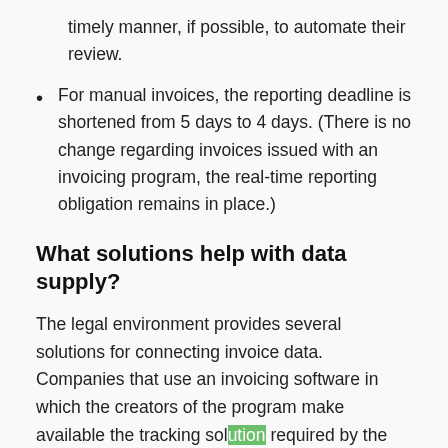timely manner, if possible, to automate their review.
For manual invoices, the reporting deadline is shortened from 5 days to 4 days. (There is no change regarding invoices issued with an invoicing program, the real-time reporting obligation remains in place.)
What solutions help with data supply?
The legal environment provides several solutions for connecting invoice data. Companies that use an invoicing software in which the creators of the program make available the tracking solution required by the online invoice regulation are in